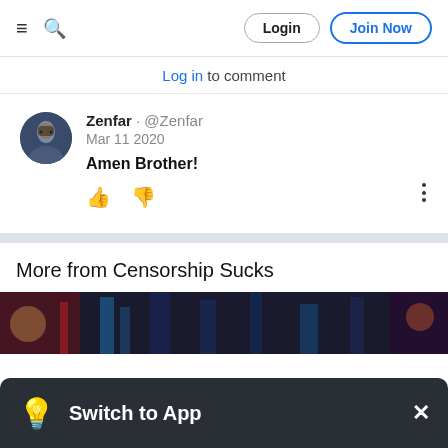Login | Join Now
Log in to comment
Zenfar · @Zenfar
Mar 11 2020
Amen Brother!
More from Censorship Sucks
[Figure (photo): Dark cityscape image strip]
Switch to App